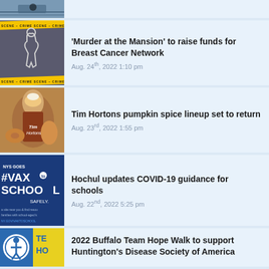[Figure (photo): Partial news item thumbnail showing a road/street scene, cropped at top]
[Figure (photo): Crime scene tape banner with outline of a body on dark pavement]
'Murder at the Mansion' to raise funds for Breast Cancer Network
Aug. 24th, 2022 1:10 pm
[Figure (photo): Tim Hortons pumpkin spice drinks and donuts]
Tim Hortons pumpkin spice lineup set to return
Aug. 23rd, 2022 1:55 pm
[Figure (photo): NYS Goes #VaxToSchool Safely promotional image on dark blue background]
Hochul updates COVID-19 guidance for schools
Aug. 22nd, 2022 5:25 pm
[Figure (photo): Buffalo Team Hope Walk logos and event imagery]
2022 Buffalo Team Hope Walk to support Huntington's Disease Society of America